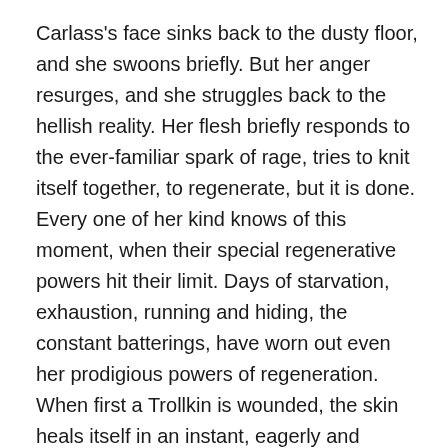Carlass's face sinks back to the dusty floor, and she swoons briefly. But her anger resurges, and she struggles back to the hellish reality. Her flesh briefly responds to the ever-familiar spark of rage, tries to knit itself together, to regenerate, but it is done. Every one of her kind knows of this moment, when their special regenerative powers hit their limit. Days of starvation, exhaustion, running and hiding, the constant batterings, have worn out even her prodigious powers of regeneration. When first a Trollkin is wounded, the skin heals itself in an instant, eagerly and without asking; push it too soon within a day, and it will respond sluggishly but willing enough; when need calls a third time, the body will drag itself back from any indignity, though the effort is a screaming horror; but after that, well, that is enough for any life. Carlass's body is done. She tries to raise herself on one arm but finds it shattered –